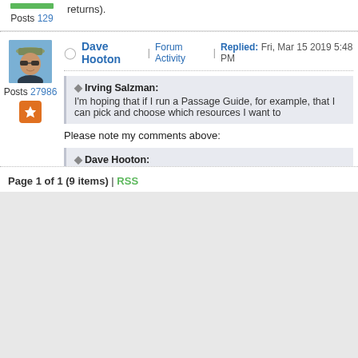returns).
Posts 129
Dave Hooton | Forum Activity | Replied: Fri, Mar 15 2019 5:48 PM
[Figure (photo): Avatar photo of Dave Hooton wearing sunglasses and a hat]
Posts 27986
Irving Salzman: I'm hoping that if I run a Passage Guide, for example, that I can pick and choose which resources I want to
Please note my comments above:
Dave Hooton: So beware that the Guides and Tools will only use th
Only Search will use books in the Cloud, in a separate section
Your Collections (in 8.4+) will only show local/downloaded res local.
Dave
===
Windows 11 & Android 8
Page 1 of 1 (9 items) | RSS